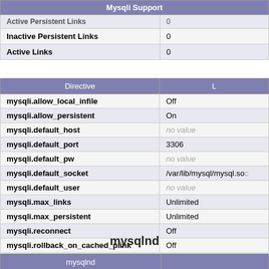| Mysqli Support |  |
| --- | --- |
| Active Persistent Links | 0 |
| Inactive Persistent Links | 0 |
| Active Links | 0 |
| Directive | L |
| --- | --- |
| mysqli.allow_local_infile | Off |
| mysqli.allow_persistent | On |
| mysqli.default_host | no value |
| mysqli.default_port | 3306 |
| mysqli.default_pw | no value |
| mysqli.default_socket | /var/lib/mysql/mysql.so |
| mysqli.default_user | no value |
| mysqli.max_links | Unlimited |
| mysqli.max_persistent | Unlimited |
| mysqli.reconnect | Off |
| mysqli.rollback_on_cached_plink | Off |
mysqlnd
| mysqlnd |  |
| --- | --- |